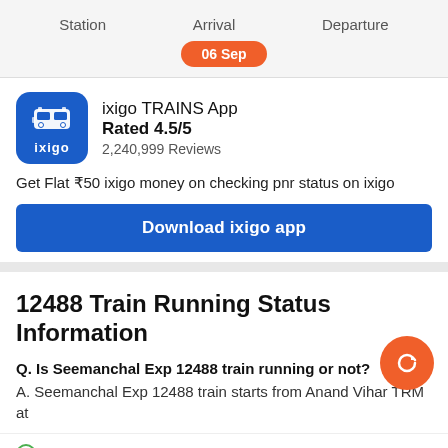Station   Arrival   Departure
06 Sep
[Figure (logo): ixigo TRAINS app logo — blue rounded square with white train icon and ixigo text]
ixigo TRAINS App
Rated 4.5/5
2,240,999 Reviews
Get Flat ₹50 ixigo money on checking pnr status on ixigo
Download ixigo app
12488 Train Running Status Information
Q. Is Seemanchal Exp 12488 train running or not?
A. Seemanchal Exp 12488 train starts from Anand Vihar TRM at
no delay Anand Vihar Trm